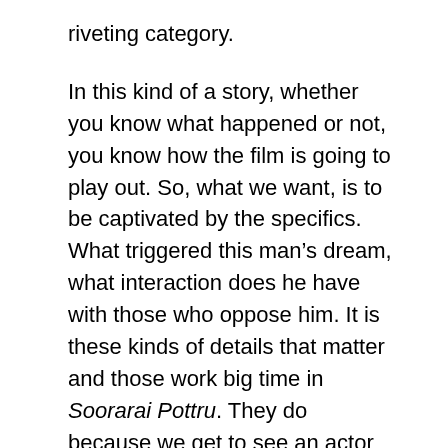riveting category.
In this kind of a story, whether you know what happened or not, you know how the film is going to play out. So, what we want, is to be captivated by the specifics. What triggered this man's dream, what interaction does he have with those who oppose him. It is these kinds of details that matter and those work big time in Soorarai Pottru. They do because we get to see an actor and director in top form.
Finally, what this film can do on a personal level is something that will stir some discussion. It might start a fire in you or it